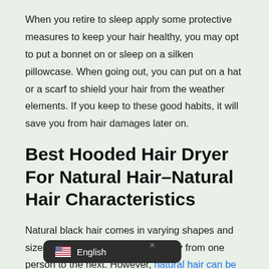When you retire to sleep apply some protective measures to keep your hair healthy, you may opt to put a bonnet on or sleep on a silken pillowcase. When going out, you can put on a hat or a scarf to shield your hair from the weather elements. If you keep to these good habits, it will save you from hair damages later on.
Best Hooded Hair Dryer For Natural Hair–Natural Hair Characteristics
Natural black hair comes in varying shapes and sizes. The texture and patterns vary from one person to the next. However, natural hair can be categorized as spanning
[Figure (screenshot): Language selector button showing US flag emoji and 'English' text on a dark rounded rectangle background]